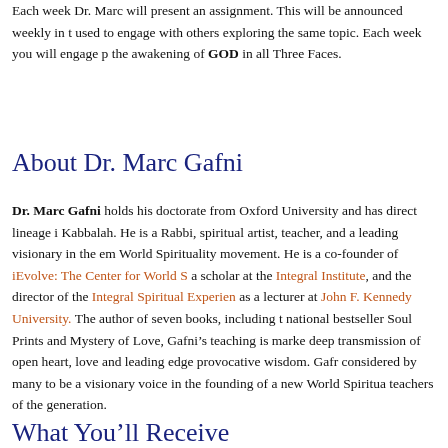Each week Dr. Marc will present an assignment. This will be announced weekly in the used to engage with others exploring the same topic. Each week you will engage p the awakening of GOD in all Three Faces.
About Dr. Marc Gafni
Dr. Marc Gafni holds his doctorate from Oxford University and has direct lineage i Kabbalah. He is a Rabbi, spiritual artist, teacher, and a leading visionary in the em World Spirituality movement. He is a co-founder of iEvolve: The Center for World S a scholar at the Integral Institute, and the director of the Integral Spiritual Experien as a lecturer at John F. Kennedy University. The author of seven books, including t national bestseller Soul Prints and Mystery of Love, Gafni’s teaching is marke deep transmission of open heart, love and leading edge provocative wisdom. Gafr considered by many to be a visionary voice in the founding of a new World Spiritua teachers of the generation.
What You’ll Receive